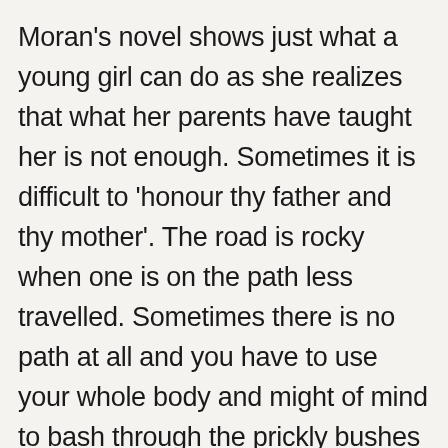Moran's novel shows just what a young girl can do as she realizes that what her parents have taught her is not enough. Sometimes it is difficult to 'honour thy father and thy mother'. The road is rocky when one is on the path less travelled. Sometimes there is no path at all and you have to use your whole body and might of mind to bash through the prickly bushes of gender inequality and innate sexism that comes at you from all directions, as you try and make it in the rather laddish culture of music journalism in the early